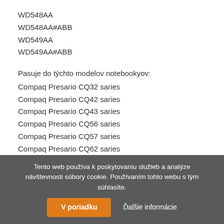WD548AA
WD548AA#ABB
WD549AA
WD549AA#ABB
Pasuje do týchto modelov notebookyov:
Compaq Presario CQ32 saries
Compaq Presario CQ42 saries
Compaq Presario CQ43 saries
Compaq Presario CQ56 saries
Compaq Presario CQ57 saries
Compaq Presario CQ62 saries
Compaq Presario CQ72 saries
HP 2000 notebooky PC
HP 430 notebooky PC
HP 431 notebooky PC
Tento web používa k poskytovaniu služieb a analýze návštevnosti súbory cookie. Používaním tohto webu s tým súhlasíte. V poriadku Ďalšie informácie